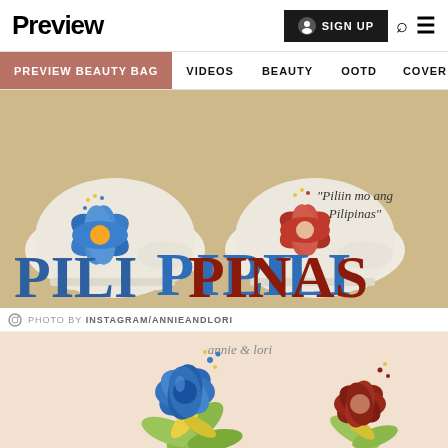Preview
SIGN UP
PREVIEW BEAUTY BAG | VIDEOS | BEAUTY | OOTD | COVER STORIES
[Figure (photo): Two white flats/shoes with painted hibiscus flowers — blue on left, red on right — on a tan background. Text reads 'Piliin mo ang Pilipinas' and large text 'PILIPINAS' in blue and red at the bottom.]
PHOTO BY INSTAGRAM/ANNIEANDLORI
[Figure (illustration): Illustration of two painted hibiscus flowers on peach/beige background — a large blue hibiscus with yellow-green leaves on the left and a dark red/maroon hibiscus on the right. Brand name 'annie & lori' shown at top center.]